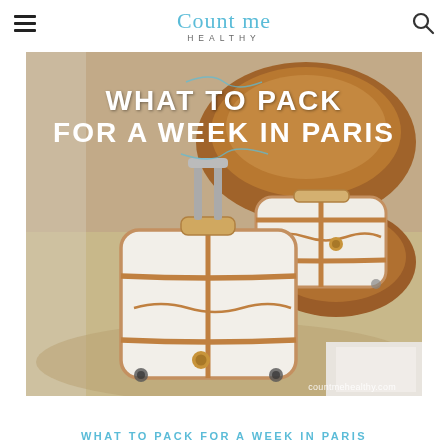Count me HEALTHY
[Figure (photo): Two white and brown Delsey-style hardshell suitcases sitting on a carpeted floor next to a leather chair, with text overlay reading 'WHAT TO PACK FOR A WEEK IN PARIS' and watermark 'countmehealthy.com']
WHAT TO PACK FOR A WEEK IN PARIS